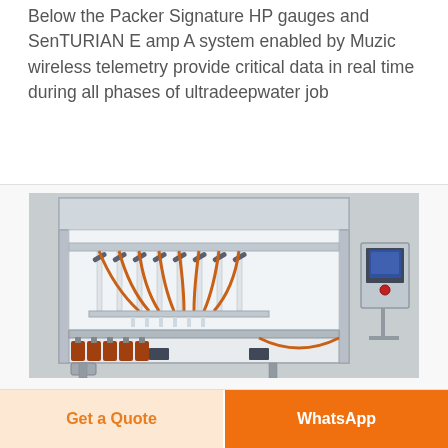Below the Packer Signature HP gauges and SenTURIAN E amp A system enabled by Muzic wireless telemetry provide critical data in real time during all phases of ultradeepwater job
[Figure (photo): Industrial liquid filling machine with multiple filling nozzles arranged in a row, orange bottles at the bottom, stainless steel frame, orange tubing and hoses, with a control panel on the right side.]
Get a Quote
WhatsApp